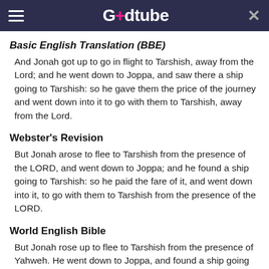Godtube
Basic English Translation (BBE)
And Jonah got up to go in flight to Tarshish, away from the Lord; and he went down to Joppa, and saw there a ship going to Tarshish: so he gave them the price of the journey and went down into it to go with them to Tarshish, away from the Lord.
Webster's Revision
But Jonah arose to flee to Tarshish from the presence of the LORD, and went down to Joppa; and he found a ship going to Tarshish: so he paid the fare of it, and went down into it, to go with them to Tarshish from the presence of the LORD.
World English Bible
But Jonah rose up to flee to Tarshish from the presence of Yahweh. He went down to Joppa, and found a ship going to Tarshish; so he paid its fare, and went down into it, to go with them to Tarshish from the presence of Yahweh.
English Revised Version (ERV)